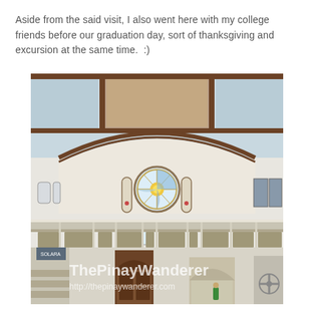Aside from the said visit, I also went here with my college friends before our graduation day, sort of thanksgiving and excursion at the same time.  :)
[Figure (photo): Interior photograph of a church showing the vaulted ceiling with wooden beams and light blue panels, a circular stained glass rose window in the center, arched walls, a choir loft/balcony with decorative panels, wooden arched doors below, and a watermark reading 'ThePinayWanderer' and 'http://thepinaywanderer.com']